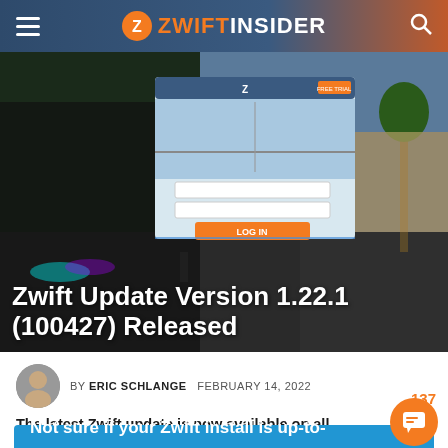ZWIFT INSIDER
[Figure (screenshot): Hero image of Zwift cycling game with cyclists racing, overlaid with a Zwift login screen dialog box]
Zwift Update Version 1.22.1 (100427) Released
BY ERIC SCHLANGE   FEBRUARY 14, 2022
The latest Zwift update is now available on all platforms: Mac, PC, Android, iOS, and AppleTV.
Not sure if your Zwift install is up-to-